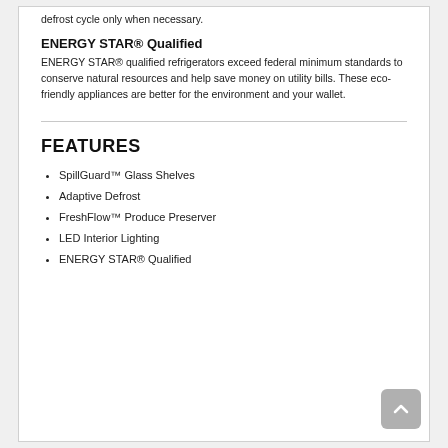defrost cycle only when necessary.
ENERGY STAR® Qualified
ENERGY STAR® qualified refrigerators exceed federal minimum standards to conserve natural resources and help save money on utility bills. These eco-friendly appliances are better for the environment and your wallet.
FEATURES
SpillGuard™ Glass Shelves
Adaptive Defrost
FreshFlow™ Produce Preserver
LED Interior Lighting
ENERGY STAR® Qualified